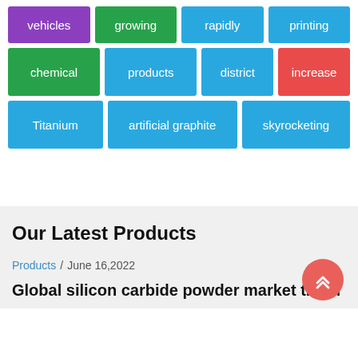[Figure (infographic): Tag cloud with colored keyword tiles: vehicles (purple), growing (green), rapidly (blue), printing (blue), chemical (green), products (blue), district (blue), increase (red), Titanium (blue), artificial graphite (blue), skyrocketing (blue)]
Our Latest Products
Products / June 16,2022
Global silicon carbide powder market trend